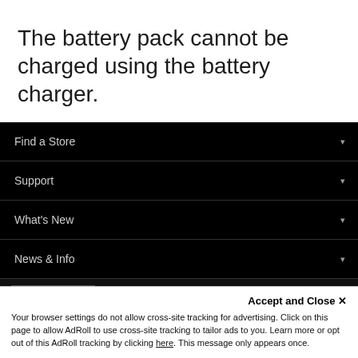The battery pack cannot be charged using the battery charger.
Find a Store
Support
What's New
News & Info
New Zealand
Accept and Close ✕
Your browser settings do not allow cross-site tracking for advertising. Click on this page to allow AdRoll to use cross-site tracking to tailor ads to you. Learn more or opt out of this AdRoll tracking by clicking here. This message only appears once.